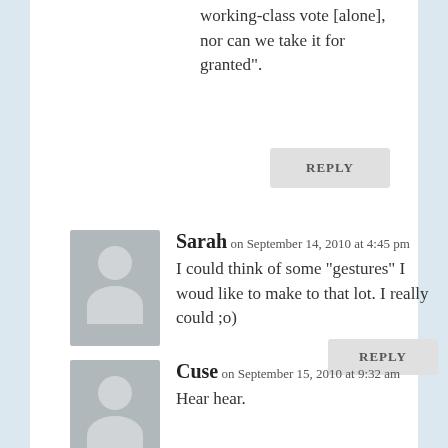working-class vote [alone], nor can we take it for granted".
REPLY
Sarah on September 14, 2010 at 4:45 pm
I could think of some “gestures” I woud like to make to that lot. I really could ;o)
REPLY
Cuse on September 15, 2010 at 9:32 am
Hear hear.